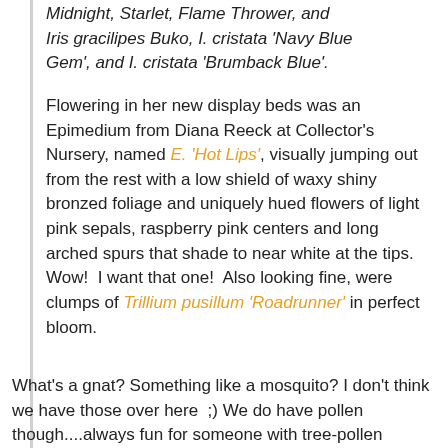Midnight, Starlet, Flame Thrower, and Iris gracilipes Buko, I. cristata 'Navy Blue Gem', and I. cristata 'Brumback Blue'.
Flowering in her new display beds was an Epimedium from Diana Reeck at Collector's Nursery, named E. 'Hot Lips', visually jumping out from the rest with a low shield of waxy shiny bronzed foliage and uniquely hued flowers of light pink sepals, raspberry pink centers and long arched spurs that shade to near white at the tips.  Wow!  I want that one!  Also looking fine, were clumps of Trillium pusillum 'Roadrunner' in perfect bloom.
What's a gnat? Something like a mosquito? I don't think we have those over here  ;) We do have pollen though....always fun for someone with tree-pollen